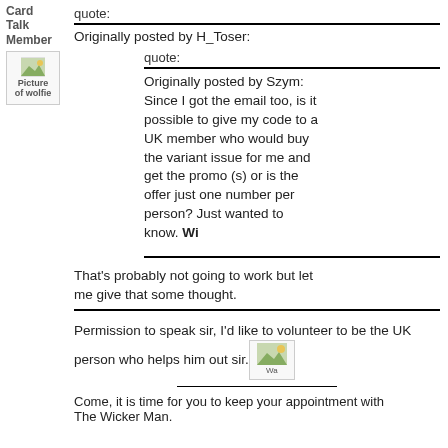Card Talk Member
[Figure (photo): Picture of wolfie - avatar image placeholder]
quote:
Originally posted by H_Toser:
quote:
Originally posted by Szym: Since I got the email too, is it possible to give my code to a UK member who would buy the variant issue for me and get the promo (s) or is the offer just one number per person? Just wanted to know. Wi
That's probably not going to work but let me give that some thought.
Permission to speak sir, I'd like to volunteer to be the UK person who helps him out sir.
[Figure (photo): Inline waving image placeholder]
Come, it is time for you to keep your appointment with The Wicker Man.